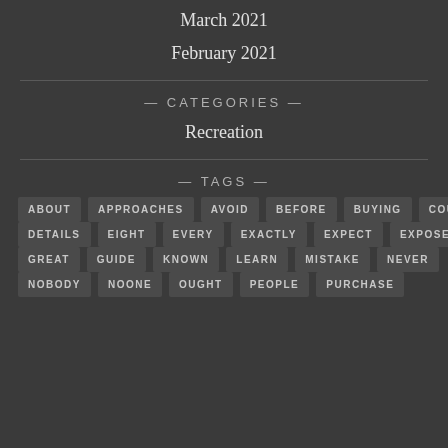March 2021
February 2021
— CATEGORIES —
Recreation
— TAGS —
ABOUT
APPROACHES
AVOID
BEFORE
BUYING
COULD
DETAILS
EIGHT
EVERY
EXACTLY
EXPECT
EXPOSED
GREAT
GUIDE
KNOWN
LEARN
MISTAKE
NEVER
NOBODY
NOONE
OUGHT
PEOPLE
PURCHASE